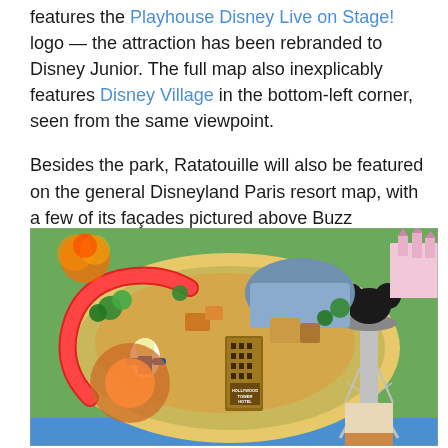features the Playhouse Disney Live on Stage! logo — the attraction has been rebranded to Disney Junior. The full map also inexplicably features Disney Village in the bottom-left corner, seen from the same viewpoint.

Besides the park, Ratatouille will also be featured on the general Disneyland Paris resort map, with a few of its façades pictured above Buzz Lightyear:
[Figure (map): Illustrated theme park map showing Walt Disney Studios Park area with Hollywood Tower Hotel, Buzz Lightyear attraction, a Mickey Mouse ear water tower on the right, and various park buildings and attractions viewed from above.]